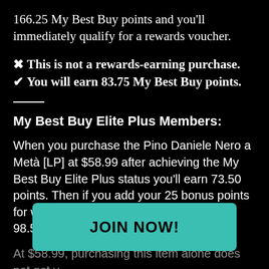166.25 My Best Buy points and you'll immediately qualify for a rewards voucher.
✖ This is not a rewards-earning purchase.
✔ You will earn 83.75 My Best Buy points.
My Best Buy Elite Plus Members:
When you purchase the Pino Daniele Nero a Metà [LP] at $58.99 after achieving the My Best Buy Elite Plus status you'll earn 73.50 points. Then if you add your 25 bonus points for writing a review, you'll score a total of 98.50 points and $1.97 in rewards.
At $58.99, purchasing this item alone does not get you the threshold. But if you spend more you'll earn 151.50 My ... immediately qualify for a rewards voucher
JOIN NOW!